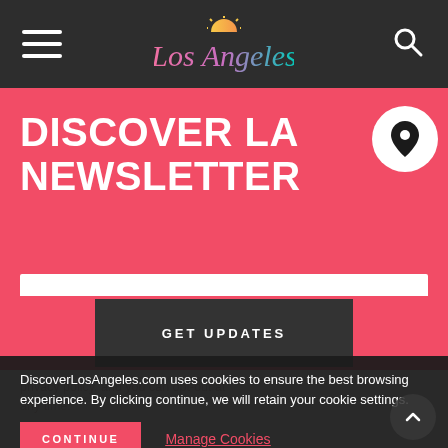Los Angeles — navigation header with hamburger menu and search icon
DISCOVER LA NEWSLETTER
Enter your email
GET UPDATES
DiscoverLosAngeles.com uses cookies to ensure the best browsing experience. By clicking continue, we will retain your cookie settings.
CONTINUE
Manage Cookies